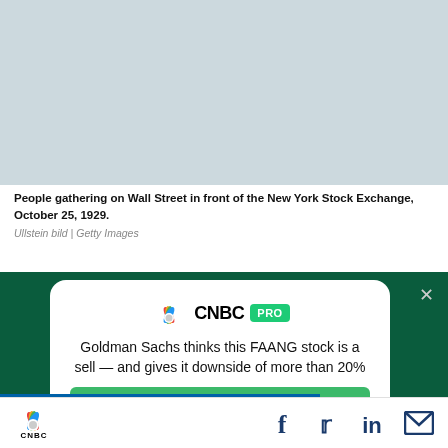[Figure (photo): Placeholder for historical photo of people gathering on Wall Street in front of the New York Stock Exchange, October 25, 1929.]
People gathering on Wall Street in front of the New York Stock Exchange, October 25, 1929.
Ullstein bild | Getty Images
[Figure (infographic): CNBC PRO advertisement card on dark green background. Headline: Goldman Sachs thinks this FAANG stock is a sell — and gives it downside of more than 20%. Subscribe Now button.]
CNBC logo with social media icons: Facebook, Twitter, LinkedIn, Email